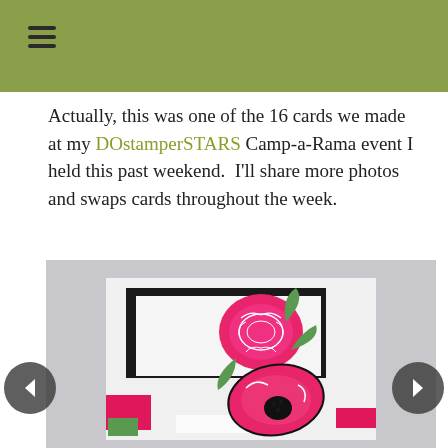≡
Actually, this was one of the 16 cards we made at my DOstamperSTARS Camp-a-Rama event I held this past weekend.  I'll share more photos and swaps cards throughout the week.
[Figure (photo): Photo of a handmade greeting card featuring pink flowers (a peony and a poppy), green leaves, black rectangular frame elements, and hot pink/white striped and solid accent pieces on a white card base. Navigation arrows visible on left and right sides.]